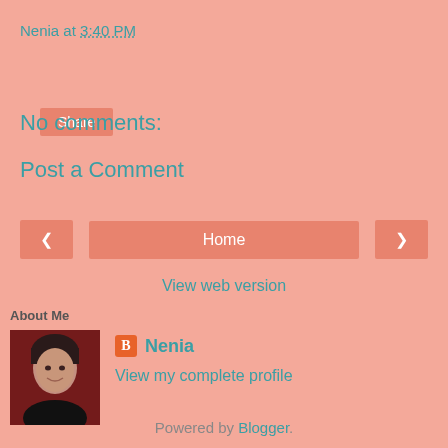Nenia at 3:40 PM
Share
No comments:
Post a Comment
< Home >
View web version
About Me
[Figure (photo): Profile photo of Nenia - woman with short dark hair smiling, wearing black, against red background]
Nenia
View my complete profile
Powered by Blogger.